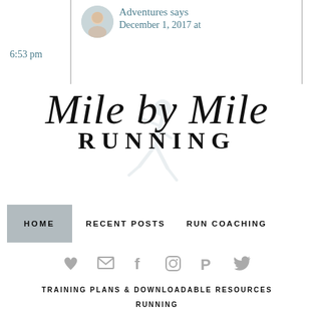Adventures says December 1, 2017 at 6:53 pm
[Figure (logo): Mile by Mile Running blog logo with script text 'Mile by Mile' and serif 'RUNNING' below, with a faint runner silhouette in the background]
HOME   RECENT POSTS   RUN COACHING
[Figure (infographic): Row of social media icons: heart, email, facebook, instagram, pinterest, twitter]
TRAINING PLANS & DOWNLOADABLE RESOURCES
RUNNING